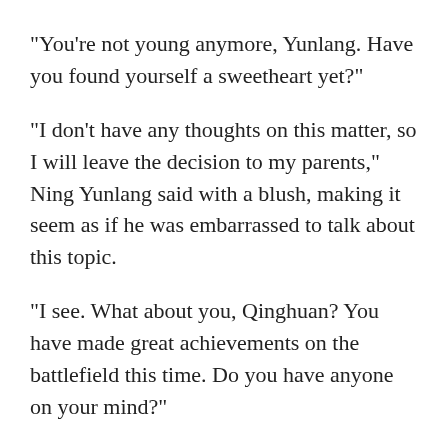"You're not young anymore, Yunlang. Have you found yourself a sweetheart yet?"
"I don't have any thoughts on this matter, so I will leave the decision to my parents," Ning Yunlang said with a blush, making it seem as if he was embarrassed to talk about this topic.
"I see. What about you, Qinghuan? You have made great achievements on the battlefield this time. Do you have anyone on your mind?"
"As it so happens, I do, Your Majesty."
Ning Qinghuan stood up and looked at the emperor